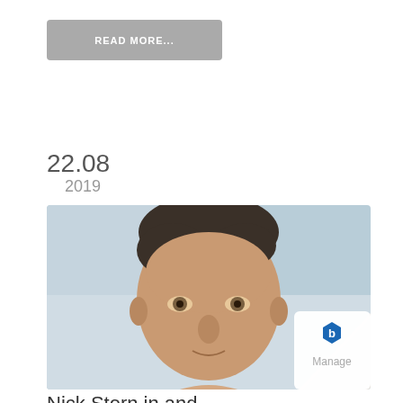READ MORE...
22.08
2019
[Figure (photo): Portrait photo of a middle-aged man with dark hair, looking directly at the camera with a slight smile, against a light blue/grey background. In the bottom-right corner there is a white folded corner with a hexagonal 'b' logo and the word 'Manage'.]
Nick Stern in and